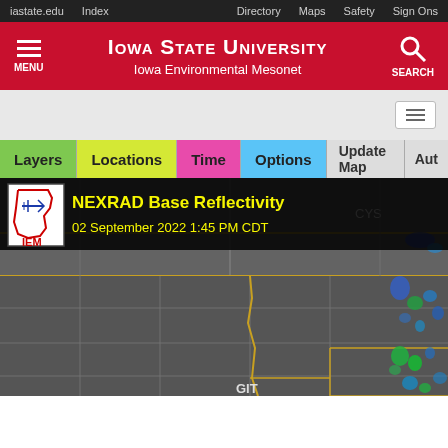iastate.edu  Index  Directory  Maps  Safety  Sign Ons
[Figure (screenshot): Iowa State University Iowa Environmental Mesonet website header with red background, hamburger menu, university logo text, and search icon]
[Figure (map): NEXRAD Base Reflectivity radar map showing 02 September 2022 1:45 PM CDT with IEM logo, showing gray county/state outlines with scattered blue-green radar returns on the eastern side. Map controls: Layers, Locations, Time, Options, Update Map, Auto buttons.]